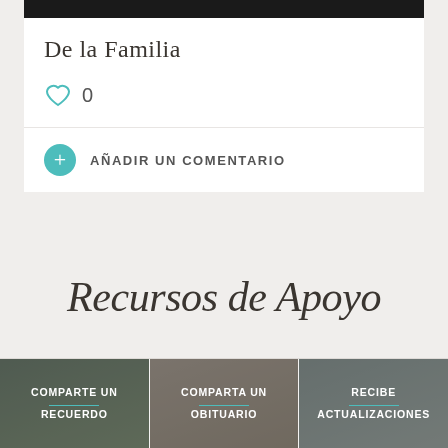[Figure (screenshot): Dark top bar of a card/panel]
De la Familia
[Figure (illustration): Teal heart icon with count 0]
0
AÑADIR UN COMENTARIO
Recursos de Apoyo
COMPARTE UN RECUERDO
COMPARTA UN OBITUARIO
RECIBE ACTUALIZACIONES